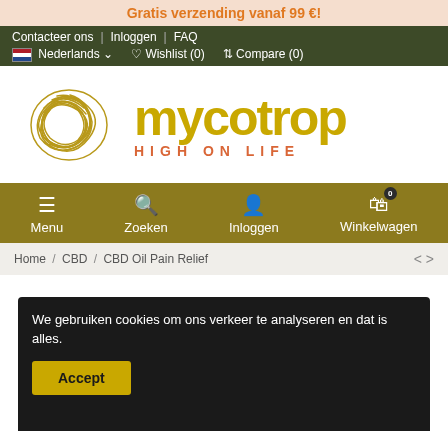Gratis verzending vanaf 99 €!
Contacteer ons | Inloggen | FAQ | Nederlands | Wishlist (0) | Compare (0)
[Figure (logo): Mycotrop logo with tangled circle illustration and text 'mycotrop HIGH ON LIFE']
Menu | Zoeken | Inloggen | Winkelwagen
Home / CBD / CBD Oil Pain Relief
We gebruiken cookies om ons verkeer te analyseren en dat is alles.
Accept